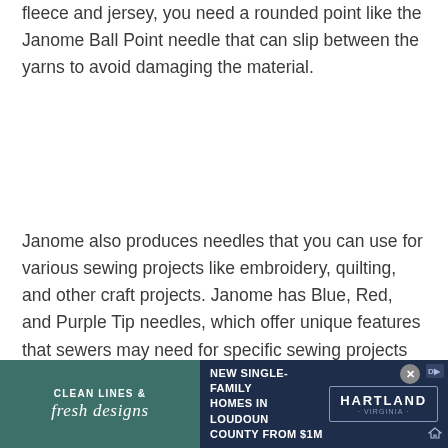fleece and jersey, you need a rounded point like the Janome Ball Point needle that can slip between the yarns to avoid damaging the material.
Janome also produces needles that you can use for various sewing projects like embroidery, quilting, and other craft projects. Janome has Blue, Red, and Purple Tip needles, which offer unique features that sewers may need for specific sewing projects and all of these on Amazon.
Blue Tip Needle
[Figure (other): Advertisement banner for Hartland Virginia new single-family homes in Loudoun County from $1M. Left side has teal background with 'Clean Lines & fresh designs' text. Right side has dark navy background with Hartland Virginia logo box.]